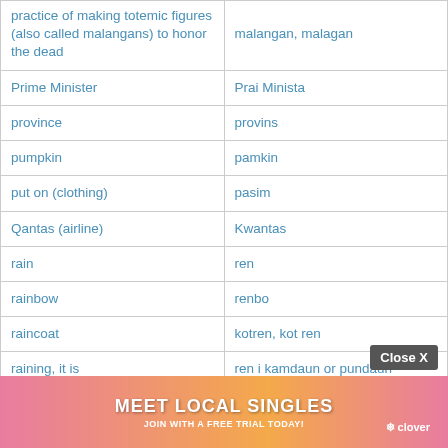| English | Tok Pisin |
| --- | --- |
| practice of making totemic figures (also called malangans) to honor the dead | malangan, malagan |
| Prime Minister | Prai Minista |
| province | provins |
| pumpkin | pamkin |
| put on (clothing) | pasim |
| Qantas (airline) | Kwantas |
| rain | ren |
| rainbow | renbo |
| raincoat | kotren, kot ren |
| raining, it is | ren i kamdaun or pundaun |
| rainy season | taim bilong ren |
| raise, increase | apim (pe) |
| red shell money used for trade in the k... | ... |
| ring (n) | ... |